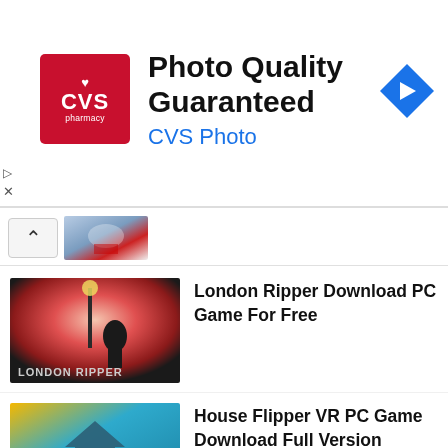[Figure (screenshot): CVS Pharmacy advertisement banner: CVS logo on left, 'Photo Quality Guaranteed' heading in black bold, 'CVS Photo' subtitle in blue, blue diamond navigation arrow icon on right]
[Figure (screenshot): Partially visible game thumbnail at top of list with chevron/collapse button]
London Ripper Download PC Game For Free
House Flipper VR PC Game Download Full Version
Gehena PC Game Download Full Version